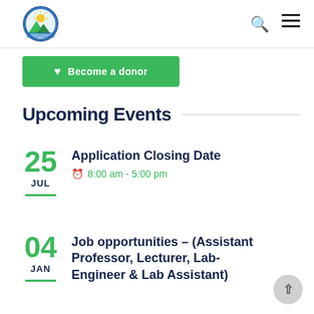[Figure (logo): Circular university/institution seal/logo with mountain and sun imagery]
🔍 ≡
♥ Become a donor
Upcoming Events
25 JUL — Application Closing Date — 8:00 am - 5:00 pm
04 JAN — Job opportunities – (Assistant Professor, Lecturer, Lab-Engineer & Lab Assistant)